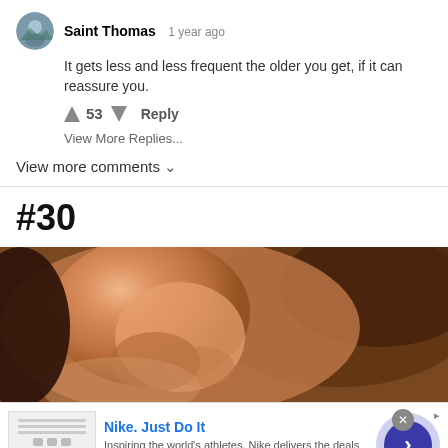Saint Thomas  1 year ago
It gets less and less frequent the older you get, if it can reassure you.
53  Reply
View More Replies...
View more comments ∨
#30
[Figure (photo): Close-up photo of a person's nose from the side, warm brown/amber tones with blurred background]
Nike. Just Do It  Inspiring the world's athletes, Nike delivers the deals  www.nike.com